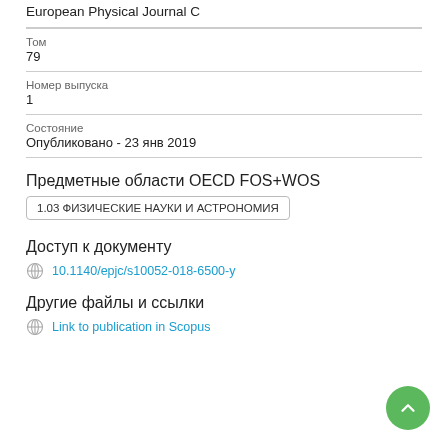European Physical Journal C
Том
79
Номер выпуска
1
Состояние
Опубликовано - 23 янв 2019
Предметные области OECD FOS+WOS
1.03 ФИЗИЧЕСКИЕ НАУКИ И АСТРОНОМИЯ
Доступ к документу
10.1140/epjc/s10052-018-6500-y
Другие файлы и ссылки
Link to publication in Scopus